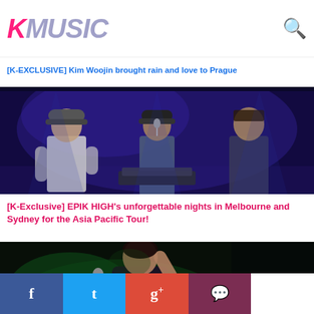KMUSIC
[K-EXCLUSIVE] Kim Woojin brought rain and love to Prague
[Figure (photo): Three performers on a dark stage with blue/purple lighting — hip-hop group Epik High performing live]
[K-Exclusive] EPIK HIGH's unforgettable nights in Melbourne and Sydney for the Asia Pacific Tour!
[Figure (photo): Female performer singing into microphone on dark stage with green accent lighting]
Facebook Twitter Google+ Comment social share buttons